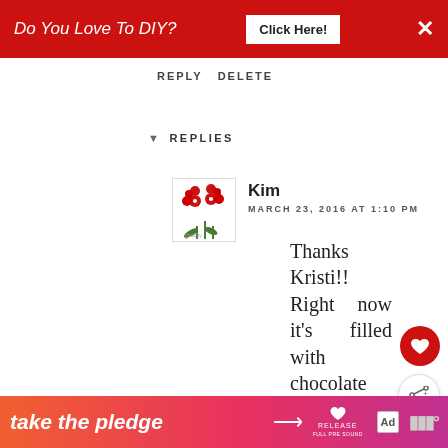[Figure (screenshot): Red advertisement banner with text 'Do You Love To DIY?' with a 'Click Here!' button and an X close button]
REPLY  DELETE
▼  REPLIES
[Figure (logo): Blog avatar with red flowers/tulips illustration]
Kim
MARCH 23, 2016 AT 1:10 PM
Thanks Kristi!! Right now it's filled with chocolate chip cookies…mmm…my weakness!! :)
DELETE
REPLY
[Figure (screenshot): Bottom advertisement banner: 'take the pledge' with arrow, Release logo and ad badge]